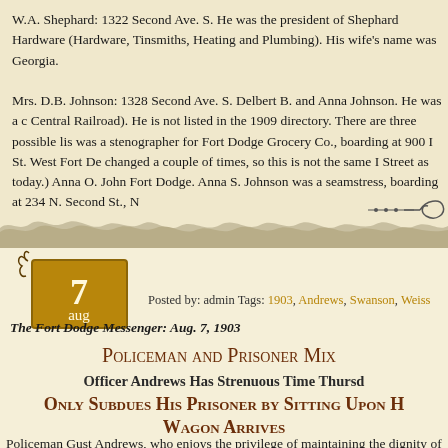W.A. Shephard: 1322 Second Ave. S. He was the president of Shephard Hardware (Hardware, Tinsmiths, Heating and Plumbing). His wife's name was Georgia.
Mrs. D.B. Johnson: 1328 Second Ave. S. Delbert B. and Anna Johnson. He was a c Central Railroad). He is not listed in the 1909 directory. There are three possible lis was a stenographer for Fort Dodge Grocery Co., boarding at 900 I St. West Fort De changed a couple of times, so this is not the same I Street as today.) Anna O. John Fort Dodge. Anna S. Johnson was a seamstress, boarding at 234 N. Second St., N
[Figure (illustration): Decorative ornamental divider with dots and a swirl/curl motif]
[Figure (illustration): Torn paper edge decorative divider separating sections]
[Figure (illustration): Decorative scroll/calendar badge with the number 7 and month aug in gold/brown]
Posted by: admin Tags: 1903, Andrews, Swanson, Weiss
The Fort Dodge Messenger: Aug. 7, 1903
Policeman and Prisoner Mix
Officer Andrews Has Strenuous Time Thursd
Only Subdues His Prisoner by Sitting Upon H Wagon Arrives
Policeman Gust Andrews, who enjoys the privilege of maintaining the dignity of the